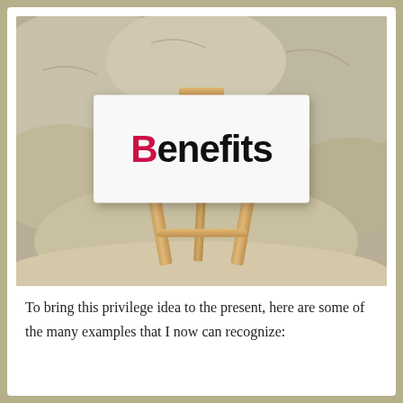[Figure (photo): A small wooden easel on a rocky/sandy surface outdoors, holding a white sign card with the word 'Benefits' where the capital B is in red/crimson and the rest of the letters are in black bold text.]
To bring this privilege idea to the present, here are some of the many examples that I now can recognize: